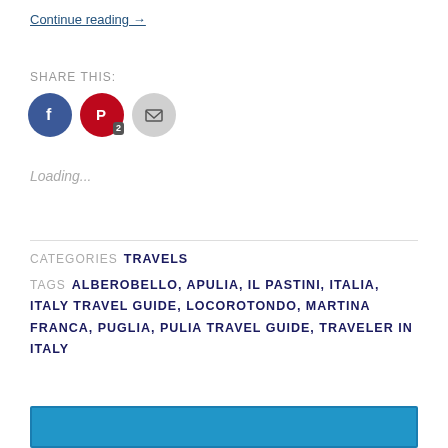Continue reading →
SHARE THIS:
[Figure (infographic): Three social sharing buttons: Facebook (blue circle), Pinterest (red circle with badge '2'), Email (gray circle)]
Loading...
CATEGORIES  TRAVELS
TAGS  ALBEROBELLO, APULIA, IL PASTINI, ITALIA, ITALY TRAVEL GUIDE, LOCOROTONDO, MARTINA FRANCA, PUGLIA, PULIA TRAVEL GUIDE, TRAVELER IN ITALY